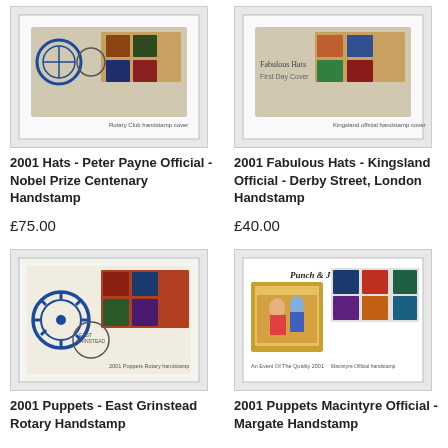[Figure (photo): First Day Cover with hat stamps - Peter Payne Nobel Prize Centenary Handstamp]
2001 Hats - Peter Payne Official - Nobel Prize Centenary Handstamp
£75.00
[Figure (photo): First Day Cover with fabulous hats stamps - Kingsland Official Derby Street London Handstamp]
2001 Fabulous Hats - Kingsland Official - Derby Street, London Handstamp
£40.00
[Figure (photo): First Day Cover with Puppets stamps featuring Rotary Club logo - East Grinstead Rotary Handstamp]
2001 Puppets - East Grinstead Rotary Handstamp
[Figure (photo): Punch and Judy stamps presentation pack - Macintyre Official Margate Handstamp]
2001 Puppets Macintyre Official - Margate Handstamp